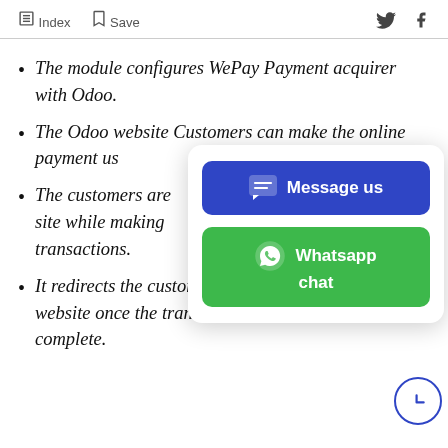Index  Save
The module configures WePay Payment acquirer with Odoo.
The Odoo website Customers can make the online payment us…
The customers are… site while making… transactions.
It redirects the customers back to the original website once the transaction is complete.
[Figure (screenshot): Chat popup overlay with 'Message us' blue button and 'Whatsapp chat' green button]